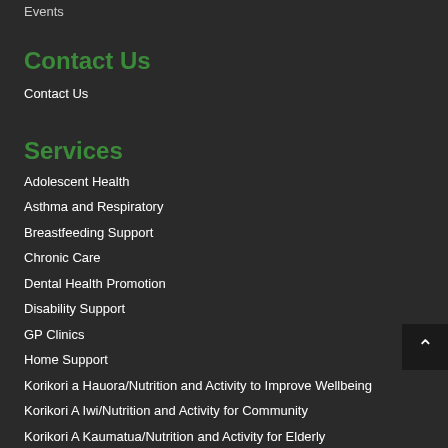Events
Contact Us
Contact Us
Services
Adolescent Health
Asthma and Respiratory
Breastfeeding Support
Chronic Care
Dental Health Promotion
Disability Support
GP Clinics
Home Support
Korikori a Hauora/Nutrition and Activity to Improve Wellbeing
Korikori A Iwi/Nutrition and Activity for Community
Korikori A Kaumatua/Nutrition and Activity for Elderly
Manaaki Manawa/Cardiac Rehabilitation